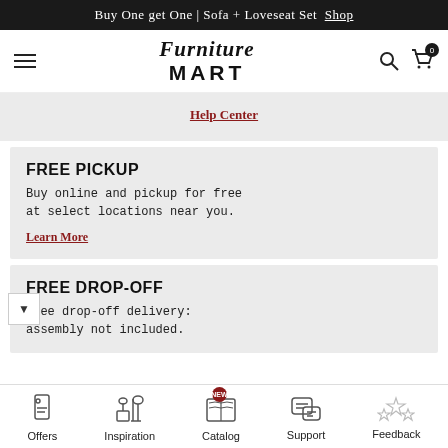Buy One get One | Sofa + Loveseat Set  Shop
[Figure (logo): Furniture Mart logo with hamburger menu, search and cart icons]
Help Center
FREE PICKUP
Buy online and pickup for free at select locations near you.
Learn More
FREE DROP-OFF
Free drop-off delivery: assembly not included.
Offers  Inspiration  Catalog  Support  Feedback